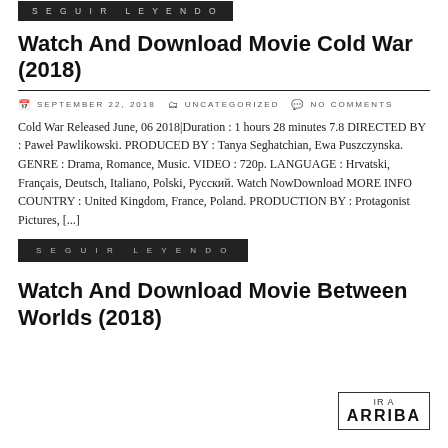SEGUIR LEYENDO
Watch And Download Movie Cold War (2018)
SEPTEMBER 22, 2018   UNCATEGORIZED   NO COMMENTS
Cold War Released June, 06 2018|Duration : 1 hours 28 minutes 7.8 DIRECTED BY : Paweł Pawlikowski. PRODUCED BY : Tanya Seghatchian, Ewa Puszczynska. GENRE : Drama, Romance, Music. VIDEO : 720p. LANGUAGE : Hrvatski, Français, Deutsch, Italiano, Polski, Русский. Watch NowDownload MORE INFO COUNTRY : United Kingdom, France, Poland. PRODUCTION BY : Protagonist Pictures, [...]
SEGUIR LEYENDO
Watch And Download Movie Between Worlds (2018)